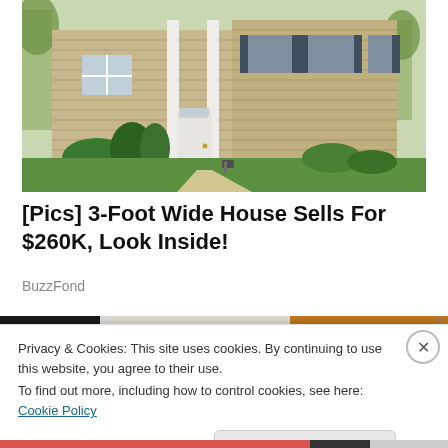[Figure (photo): Exterior photo of a two-story colonial-style house with beige siding, white front door, white columns, green shrubs, and a manicured lawn in spring]
[Pics] 3-Foot Wide House Sells For $260K, Look Inside!
BuzzFond
[Figure (photo): Strip of three thumbnail images including decorative items and a welcome mat]
Privacy & Cookies: This site uses cookies. By continuing to use this website, you agree to their use.
To find out more, including how to control cookies, see here: Cookie Policy
Close and accept